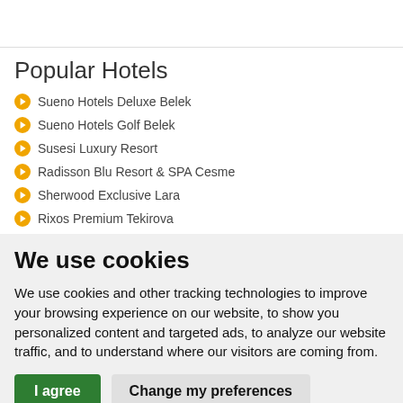Popular Hotels
Sueno Hotels Deluxe Belek
Sueno Hotels Golf Belek
Susesi Luxury Resort
Radisson Blu Resort & SPA Cesme
Sherwood Exclusive Lara
Rixos Premium Tekirova
We use cookies
We use cookies and other tracking technologies to improve your browsing experience on our website, to show you personalized content and targeted ads, to analyze our website traffic, and to understand where our visitors are coming from.
I agree   Change my preferences